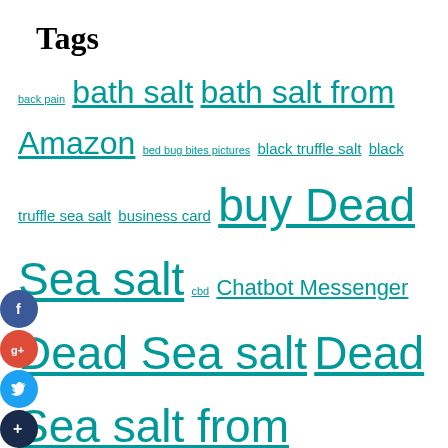Tags
back pain bath salt bath salt from Amazon bed bug bites pictures black truffle salt black truffle sea salt business card buy Dead Sea salt cbd Chatbot Messenger Dead Sea salt Dead Sea salt from Amazon dental care dentist digital marketing digital marketing agency Facebook Bot Facebook Chatbot Facebook Messenger Bot Facebook Messenger Chatbot gold business card himalayan pink salt Himalayan salt incentive marketing incentive marketing company incentive marketing